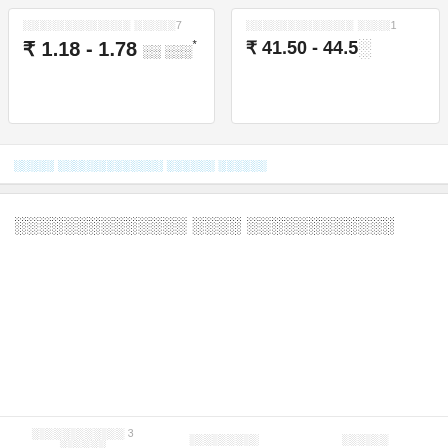₹ 1.18 - 1.78 per unit*
₹ 41.50 - 44.50
अन्य बिजलीघर संबंधित उत्पाद देखें
बिजलीघर संबंधित कार्यक्रम
सोलरएज 3 चरण
तीन चरण
तीन चरण
कार्यक्रम देखें बटन